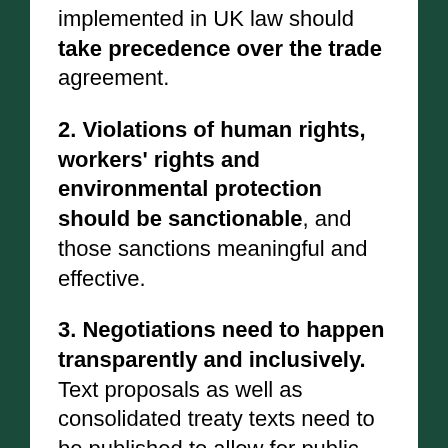implemented in UK law should take precedence over the trade agreement.
2. Violations of human rights, workers' rights and environmental protection should be sanctionable, and those sanctions meaningful and effective.
3. Negotiations need to happen transparently and inclusively. Text proposals as well as consolidated treaty texts need to be published to allow for public scrutiny and robust debate. Corporations must not be granted privileged access.